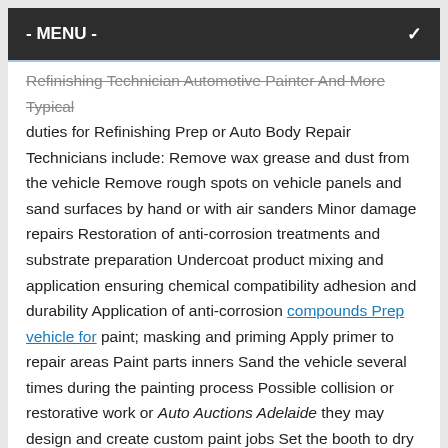- MENU -
Refinishing Technician Automotive Painter And More Typical duties for Refinishing Prep or Auto Body Repair Technicians include: Remove wax grease and dust from the vehicle Remove rough spots on vehicle panels and sand surfaces by hand or with air sanders Minor damage repairs Restoration of anti-corrosion treatments and substrate preparation Undercoat product mixing and application ensuring chemical compatibility adhesion and durability Application of anti-corrosion compounds Prep vehicle for paint; masking and priming Apply primer to repair areas Paint parts inners Sand the vehicle several times during the painting process Possible collision or restorative work or Auto Auctions Adelaide they may design and create custom paint jobs Set the booth to dry the paint Remove masking papers and touch up paintwork Remove parts damaged fenders doors panels and grills Repair structure of vehicles Remove dents buckles and other defects Repair and replace doors front-end body and underbody